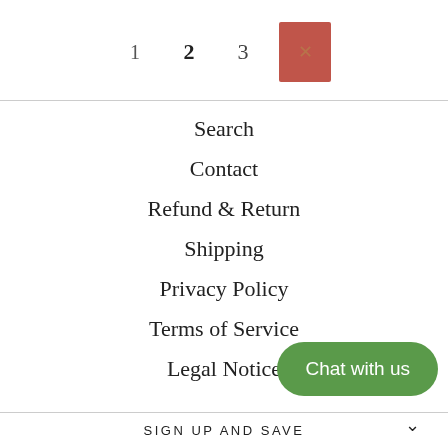1  2  3  [active page]
Search
Contact
Refund & Return
Shipping
Privacy Policy
Terms of Service
Legal Notice
[Figure (other): Green rounded chat button with text 'Chat with us']
SIGN UP AND SAVE